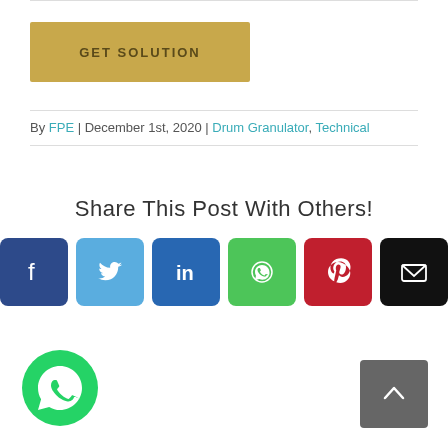GET SOLUTION
By FPE | December 1st, 2020 | Drum Granulator, Technical
Share This Post With Others!
[Figure (infographic): Social share buttons: Facebook, Twitter, LinkedIn, WhatsApp, Pinterest, Email]
[Figure (infographic): Floating WhatsApp contact button (green circle) at bottom left, and scroll-to-top button (grey square with up arrow) at bottom right]